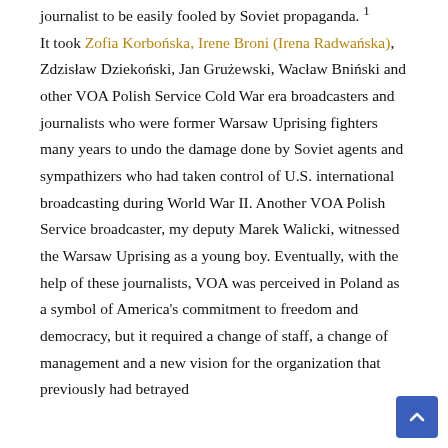journalist to be easily fooled by Soviet propaganda.¹ It took Zofia Korbońska, Irene Broni (Irena Radwańska), Zdzisław Dziekoski, Jan Grużewski, Wacław Bniński and other VOA Polish Service Cold War era broadcasters and journalists who were former Warsaw Uprising fighters many years to undo the damage done by Soviet agents and sympathizers who had taken control of U.S. international broadcasting during World War II. Another VOA Polish Service broadcaster, my deputy Marek Walicki, witnessed the Warsaw Uprising as a young boy. Eventually, with the help of these journalists, VOA was perceived in Poland as a symbol of America’s commitment to freedom and democracy, but it required a change of staff, a change of management and a new vision for the organization that previously had betrayed